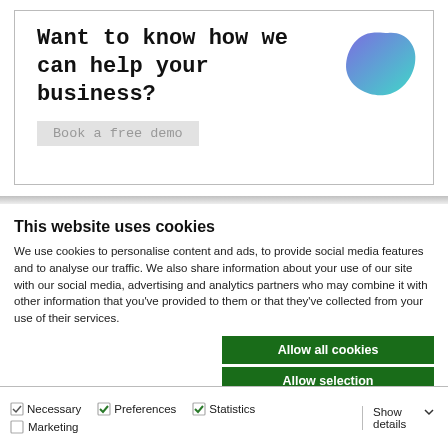[Figure (infographic): Promotional box with text 'Want to know how we can help your business?' and a 'Book a free demo' button, with a teal/purple blob graphic in the top right corner.]
This website uses cookies
We use cookies to personalise content and ads, to provide social media features and to analyse our traffic. We also share information about your use of our site with our social media, advertising and analytics partners who may combine it with other information that you've provided to them or that they've collected from your use of their services.
Allow all cookies
Allow selection
Use necessary cookies only
Necessary  Preferences  Statistics  Marketing  Show details